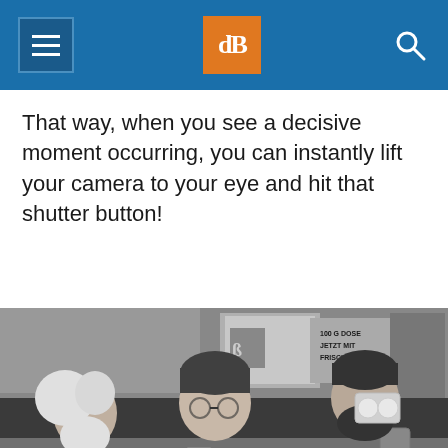dPS navigation header with hamburger menu, logo, and search icon
That way, when you see a decisive moment occurring, you can instantly lift your camera to your eye and hit that shutter button!
[Figure (photo): Black and white photograph of three men sitting at an outdoor cafe table. On the left is an older man with long white hair and beard. In the middle is a heavy-set man in a button-up shirt holding something. On the right is a bearded man drinking from a cup. Background shows a storefront with German text '100 G DOSE JETZT MIT FRISCHEPAD'. A close/X button appears in the lower right corner.]